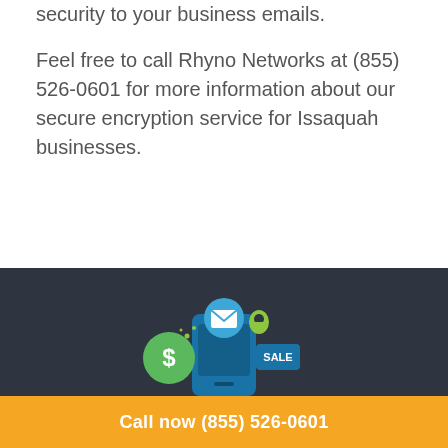security to your business emails.
Feel free to call Rhyno Networks at (855) 526-0601 for more information about our secure encryption service for Issaquah businesses.
[Figure (illustration): Illustration of a smartphone with icons: dollar sign circle, email envelope circle, location pin, and a SALE tag, on a dark background.]
Call now (855) 526-0601